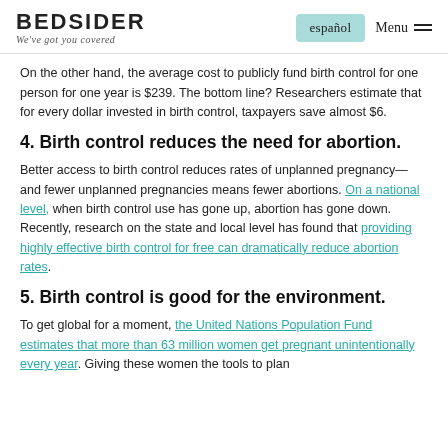BEDSIDER We've got you covered | español | Menu
On the other hand, the average cost to publicly fund birth control for one person for one year is $239. The bottom line? Researchers estimate that for every dollar invested in birth control, taxpayers save almost $6.
4. Birth control reduces the need for abortion.
Better access to birth control reduces rates of unplanned pregnancy—and fewer unplanned pregnancies means fewer abortions. On a national level, when birth control use has gone up, abortion has gone down. Recently, research on the state and local level has found that providing highly effective birth control for free can dramatically reduce abortion rates.
5. Birth control is good for the environment.
To get global for a moment, the United Nations Population Fund estimates that more than 63 million women get pregnant unintentionally every year. Giving these women the tools to plan